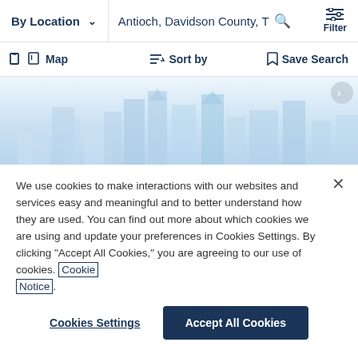By Location   Antioch, Davidson County, T   Filter
Map   Sort by   Save Search
[Figure (illustration): Light blue city skyline with tall buildings against a pale blue sky background]
We use cookies to make interactions with our websites and services easy and meaningful and to better understand how they are used. You can find out more about which cookies we are using and update your preferences in Cookies Settings. By clicking "Accept All Cookies," you are agreeing to our use of cookies. Cookie Notice.
Cookies Settings   Accept All Cookies